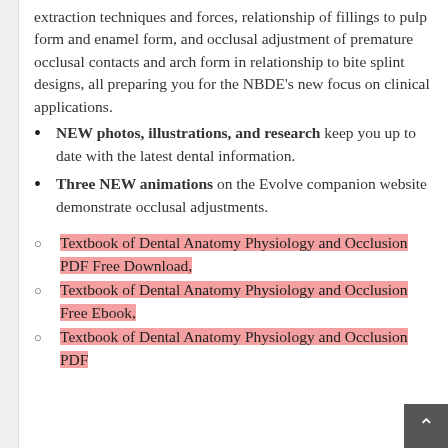extraction techniques and forces, relationship of fillings to pulp form and enamel form, and occlusal adjustment of premature occlusal contacts and arch form in relationship to bite splint designs, all preparing you for the NBDE's new focus on clinical applications.
NEW photos, illustrations, and research keep you up to date with the latest dental information.
Three NEW animations on the Evolve companion website demonstrate occlusal adjustments.
Textbook of Dental Anatomy Physiology and Occlusion PDF Free Download,
Textbook of Dental Anatomy Physiology and Occlusion Free Ebook,
Textbook of Dental Anatomy Physiology and Occlusion PDF